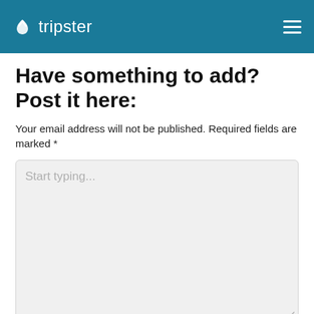tripster
Have something to add? Post it here:
Your email address will not be published. Required fields are marked *
[Figure (screenshot): A text area input box with placeholder text 'Start typing...' on a light gray background]